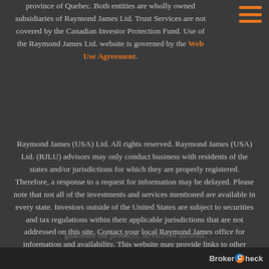province of Quebec. Both entities are wholly owned subsidiaries of Raymond James Ltd. Trust Services are not covered by the Canadian Investor Protection Fund. Use of the Raymond James Ltd. website is governed by the Web Use Agreement.
Raymond James (USA) Ltd. All rights reserved. Raymond James (USA) Ltd. (RJLU) advisors may only conduct business with residents of the states and/or jurisdictions for which they are properly registered. Therefore, a response to a request for information may be delayed. Please note that not all of the investments and services mentioned are available in every state. Investors outside of the United States are subject to securities and tax regulations within their applicable jurisdictions that are not addressed on this site. Contact your local Raymond James office for information and availability. This website may provide links to other Internet sites for the convenience of users. RJLU is not responsible for the availability or content of these external sites, nor does RJLU endorse, warrant or guarantee the products, services or informa...
[Figure (logo): BrokerCheck logo with orange and blue circular C in bottom right bar]